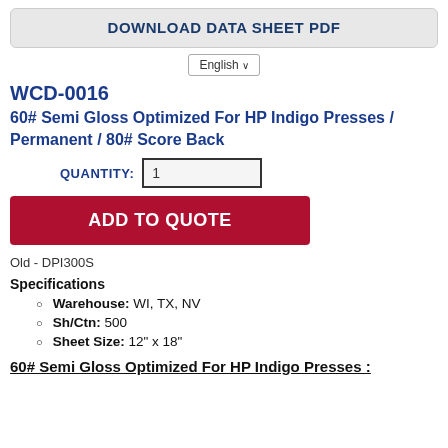DOWNLOAD DATA SHEET PDF
English
WCD-0016
60# Semi Gloss Optimized For HP Indigo Presses / Permanent / 80# Score Back
QUANTITY: 1
ADD TO QUOTE
Old - DPI300S
Specifications
Warehouse: WI, TX, NV
Sh/Ctn: 500
Sheet Size: 12" x 18"
60# Semi Gloss Optimized For HP Indigo Presses :